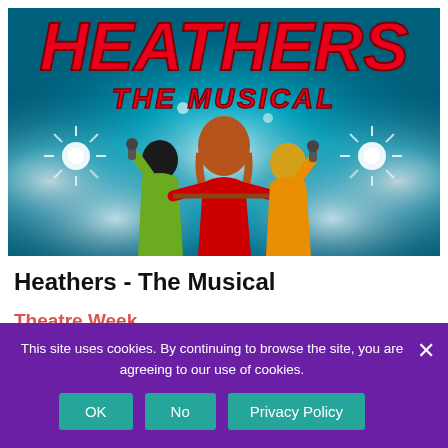[Figure (illustration): Promotional poster for Heathers - The Musical showing three female figures from behind holding microphones under stage lights, with bold red stylized text reading HEATHERS THE MUSICAL on a teal/blue background]
Heathers - The Musical
Theatre Week
Tickets from £25
This site uses cookies. By continuing to browse the site, you are agreeing to our use of cookies.
OK | No | Privacy Policy